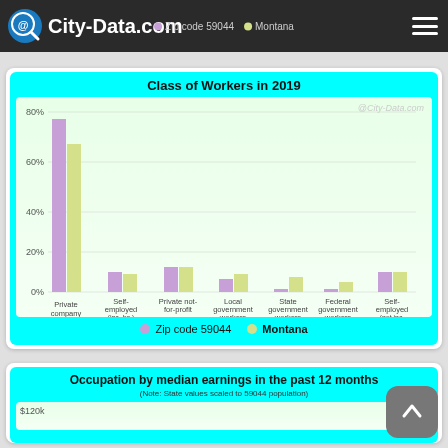City-Data.com
[Figure (grouped-bar-chart): Class of Workers in 2019]
Zip code 59044   Montana
[Figure (bar-chart): Bar chart partially visible at bottom of page showing occupation median earnings. Y-axis shows $120k label visible.]